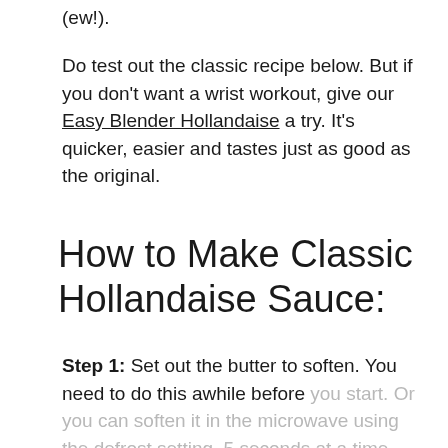(ew!).
Do test out the classic recipe below. But if you don't want a wrist workout, give our Easy Blender Hollandaise a try. It's quicker, easier and tastes just as good as the original.
How to Make Classic Hollandaise Sauce:
Step 1: Set out the butter to soften. You need to do this awhile before you start. Or you can soften it in the microwave using the defrost setting, 5 seconds at a time,